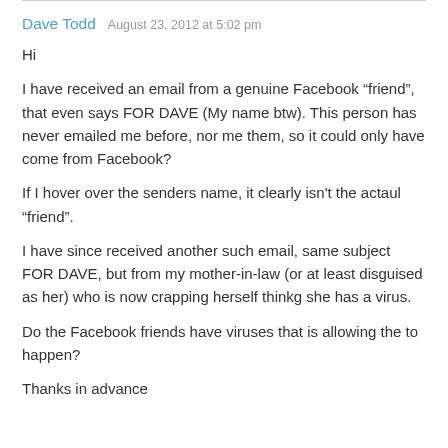Dave Todd  August 23, 2012 at 5:02 pm
Hi
I have received an email from a genuine Facebook "friend", that even says FOR DAVE (My name btw). This person has never emailed me before, nor me them, so it could only have come from Facebook?
If I hover over the senders name, it clearly isn't the actaul "friend".
I have since received another such email, same subject FOR DAVE, but from my mother-in-law (or at least disguised as her) who is now crapping herself thinkg she has a virus.
Do the Facebook friends have viruses that is allowing the to happen?
Thanks in advance